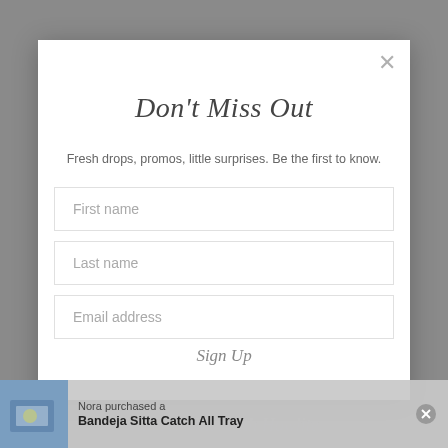Don't Miss Out
Fresh drops, promos, little surprises. Be the first to know.
First name
Last name
Email address
Sign Up
Nora purchased a Bandeja Sitta Catch All Tray